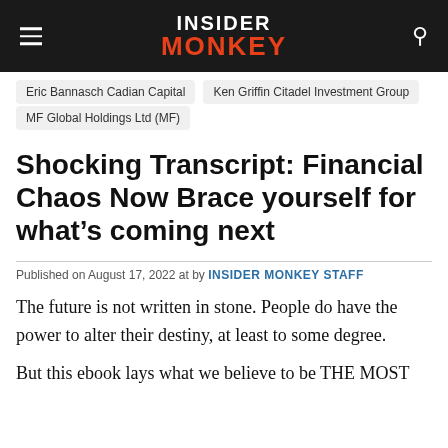INSIDER MONKEY
Eric Bannasch Cadian Capital
Ken Griffin Citadel Investment Group
MF Global Holdings Ltd (MF)
Shocking Transcript: Financial Chaos Now Brace yourself for what’s coming next
Published on August 17, 2022 at by INSIDER MONKEY STAFF
The future is not written in stone. People do have the power to alter their destiny, at least to some degree.
But this ebook lays what we believe to be THE MOST